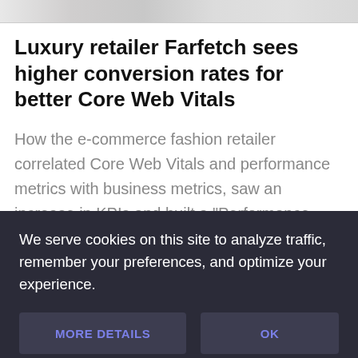[Figure (photo): Partial image strip at the top, showing cropped product/fashion imagery]
Luxury retailer Farfetch sees higher conversion rates for better Core Web Vitals
How the e-commerce fashion retailer correlated Core Web Vitals and performance metrics with business metrics, saw an increase in KPIs and built a "Performance Business Case
We serve cookies on this site to analyze traffic, remember your preferences, and optimize your experience.
MORE DETAILS
OK